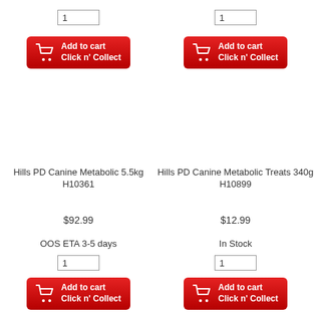[Figure (screenshot): Quantity input box showing '1' in top-left product column]
[Figure (screenshot): Quantity input box showing '1' in top-right product column]
[Figure (screenshot): Add to cart / Click n' Collect red button in top-left column]
[Figure (screenshot): Add to cart / Click n' Collect red button in top-right column]
Hills PD Canine Metabolic 5.5kg
H10361
Hills PD Canine Metabolic Treats 340g
H10899
$92.99
$12.99
OOS ETA 3-5 days
In Stock
[Figure (screenshot): Quantity input box showing '1' in bottom-left product column]
[Figure (screenshot): Quantity input box showing '1' in bottom-right product column]
[Figure (screenshot): Add to cart / Click n' Collect red button in bottom-left column]
[Figure (screenshot): Add to cart / Click n' Collect red button in bottom-right column]